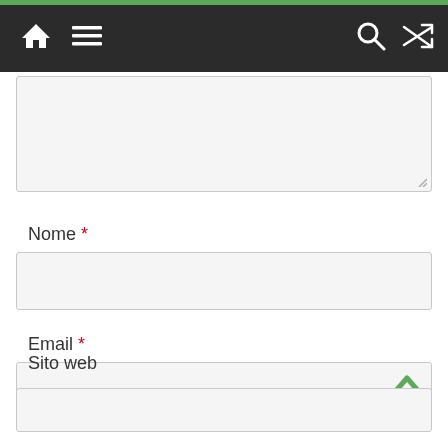Navigation bar with home icon, menu, search, and shuffle icons
[Figure (screenshot): Textarea form input box (partially visible, with resize handle at bottom right)]
Nome *
[Figure (screenshot): Nome text input field (empty)]
Email *
[Figure (screenshot): Email text input field (empty)]
Sito web
[Figure (screenshot): Sito web text input field (empty, partially visible)]